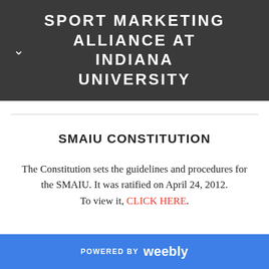SPORT MARKETING ALLIANCE AT INDIANA UNIVERSITY
SMAIU CONSTITUTION
The Constitution sets the guidelines and procedures for the SMAIU. It was ratified on April 24, 2012. To view it, CLICK HERE.
POWERED BY weebly